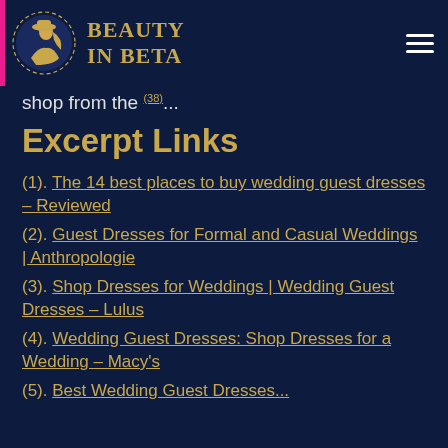BEAUTY IN BETA
shop from the (38)...
Excerpt Links
(1). The 14 best places to buy wedding guest dresses – Reviewed
(2). Guest Dresses for Formal and Casual Weddings | Anthropologie
(3). Shop Dresses for Weddings | Wedding Guest Dresses – Lulus
(4). Wedding Guest Dresses: Shop Dresses for a Wedding – Macy's
(5). Best Wedding Guest Dresses...